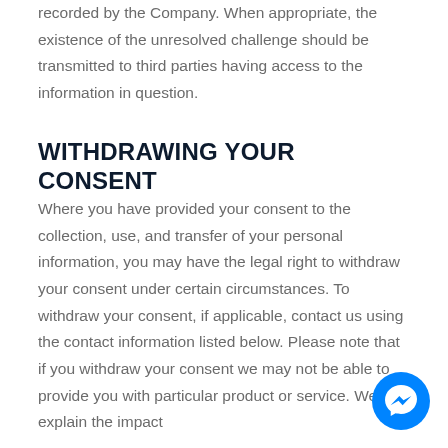recorded by the Company. When appropriate, the existence of the unresolved challenge should be transmitted to third parties having access to the information in question.
WITHDRAWING YOUR CONSENT
Where you have provided your consent to the collection, use, and transfer of your personal information, you may have the legal right to withdraw your consent under certain circumstances. To withdraw your consent, if applicable, contact us using the contact information listed below. Please note that if you withdraw your consent we may not be able to provide you with particular product or service. We will explain the impact